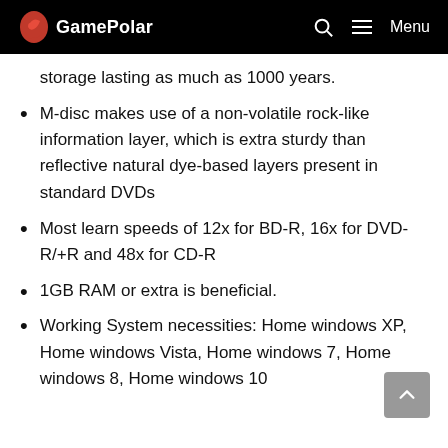GamePolar
storage lasting as much as 1000 years.
M-disc makes use of a non-volatile rock-like information layer, which is extra sturdy than reflective natural dye-based layers present in standard DVDs
Most learn speeds of 12x for BD-R, 16x for DVD-R/+R and 48x for CD-R
1GB RAM or extra is beneficial.
Working System necessities: Home windows XP, Home windows Vista, Home windows 7, Home windows 8, Home windows 10